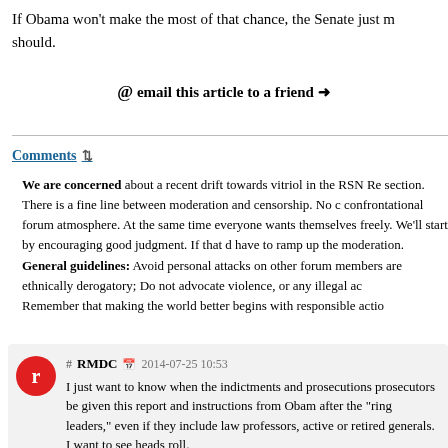If Obama won't make the most of that chance, the Senate just m should.
@ email this article to a friend →
Comments ⇅
We are concerned about a recent drift towards vitriol in the RSN Re section. There is a fine line between moderation and censorship. No confrontational forum atmosphere. At the same time everyone wants themselves freely. We'll start by encouraging good judgment. If that have to ramp up the moderation. General guidelines: Avoid personal attacks on other forum members are ethnically derogatory; Do not advocate violence, or any illegal ac Remember that making the world better begins with responsible actio
# RMDC 2014-07-25 10:53 I just want to know when the indictments and prosecutions prosecutors be given this report and instructions from Obam after the "ring leaders," even if they include law professors, active or retired generals. I want to see heads roll.